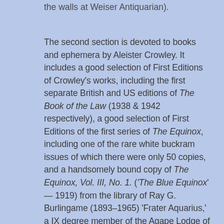the walls at Weiser Antiquarian).
The second section is devoted to books and ephemera by Aleister Crowley. It includes a good selection of First Editions of Crowley's works, including the first separate British and US editions of The Book of the Law (1938 & 1942 respectively), a good selection of First Editions of the first series of The Equinox, including one of the rare white buckram issues of which there were only 50 copies, and a handsomely bound copy of The Equinox, Vol. III, No. 1. ('The Blue Equinox' — 1919) from the library of Ray G. Burlingame (1893–1965) 'Frater Aquarius,' a IX degree member of the Agape Lodge of the O.T.O., with his stylised ownership inscription. Other First Editions include a superb set of the first issue of Magick In Theory and Practice (1929) in four parts, with the rare, 4 page